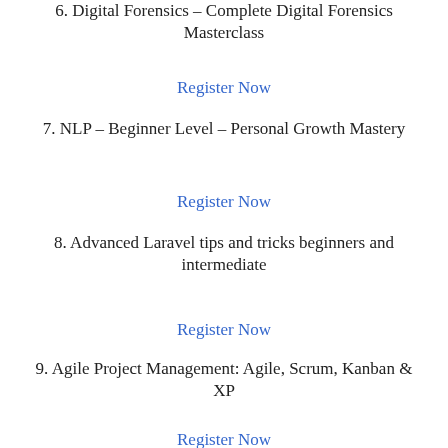6. Digital Forensics – Complete Digital Forensics Masterclass
Register Now
7. NLP – Beginner Level – Personal Growth Mastery
Register Now
8. Advanced Laravel tips and tricks beginners and intermediate
Register Now
9. Agile Project Management: Agile, Scrum, Kanban & XP
Register Now